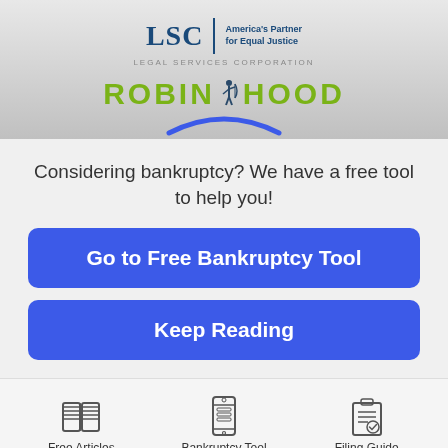[Figure (logo): LSC Legal Services Corporation logo with tagline 'America's Partner for Equal Justice' and Robin Hood logo in green text with archer figure]
Considering bankruptcy? We have a free tool to help you!
Go to Free Bankruptcy Tool
Keep Reading
[Figure (illustration): Footer navigation icons: open book for Free Articles, smartphone for Bankruptcy Tool, clipboard for Filing Guide]
Free Articles | Bankruptcy Tool | Filing Guide